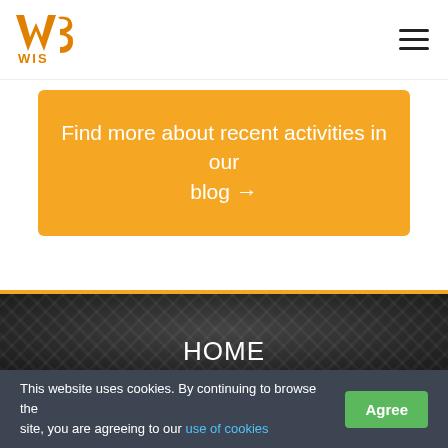WIS logo and navigation hamburger menu
Find more about recent activities in our blog →
HOME
OUR TEAM
ABOUT US
This website uses cookies. By continuing to browse the site, you are agreeing to our use of cookies  Agree